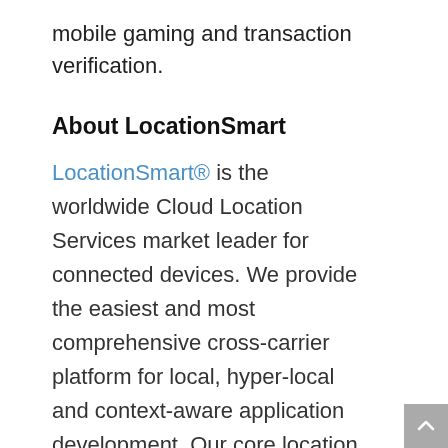mobile gaming and transaction verification.
About LocationSmart
LocationSmart® is the worldwide Cloud Location Services market leader for connected devices. We provide the easiest and most comprehensive cross-carrier platform for local, hyper-local and context-aware application development. Our core location services span indoor and outdoor use across devices, platforms and carrier networks. Serving Fortune 500 customers, LocationSmart is changing the ways